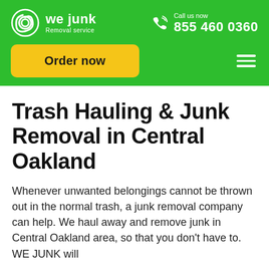we junk Removal service | Call us now 855 460 0360 | Order now
Trash Hauling & Junk Removal in Central Oakland
Whenever unwanted belongings cannot be thrown out in the normal trash, a junk removal company can help. We haul away and remove junk in Central Oakland area, so that you don't have to. WE JUNK will